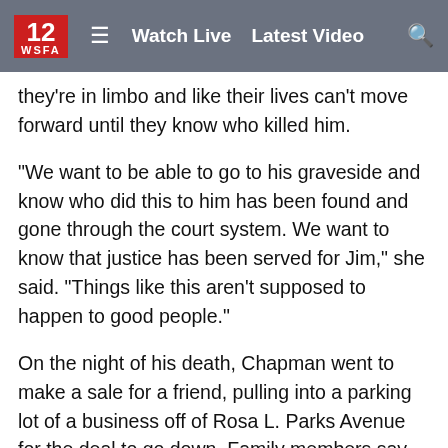12 WSFA  ≡  Watch Live  Latest Video  🔍
they're in limbo and like their lives can't move forward until they know who killed him.
"We want to be able to go to his graveside and know who did this to him has been found and gone through the court system. We want to know that justice has been served for Jim," she said. "Things like this aren't supposed to happen to good people."
On the night of his death, Chapman went to make a sale for a friend, pulling into a parking lot of a business off of Rosa L. Parks Avenue for the deal to go down. Family members say he was shot as soon as he got out of his car.
"If you know something, please come forward. It might not seem like much but you never know what little bit of information might lead to something bigger. We would like to have closure," Martha said at the press conference